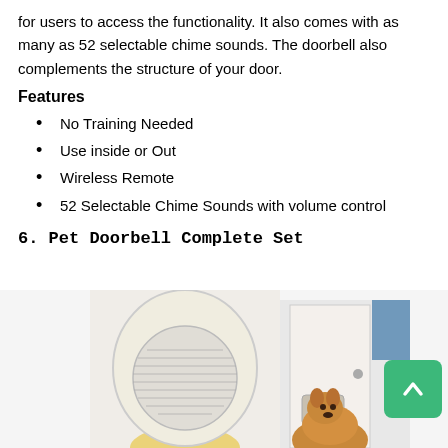for users to access the functionality. It also comes with as many as 52 selectable chime sounds. The doorbell also complements the structure of your door.
Features
No Training Needed
Use inside or Out
Wireless Remote
52 Selectable Chime Sounds with volume control
6. Pet Doorbell Complete Set
[Figure (photo): Photo of a white wireless doorbell speaker unit and a dog at a pet door, with a green scroll-up button overlay in the bottom right corner.]